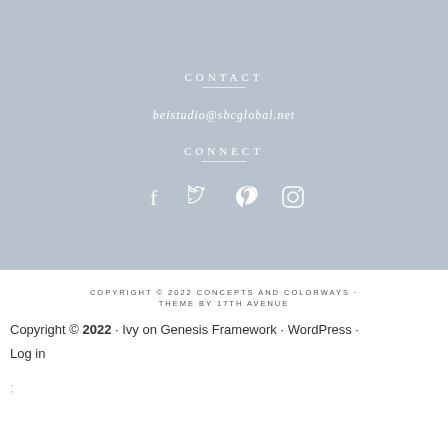CONTACT
beistudio@sbcglobal.net
CONNECT
[Figure (infographic): Social media icons: Facebook, Twitter, Pinterest, Instagram]
COPYRIGHT © 2022 CONCEPTS AND COLORWAYS · THEME BY 17TH AVENUE
Copyright © 2022 · Ivy on Genesis Framework · WordPress · Log in
;